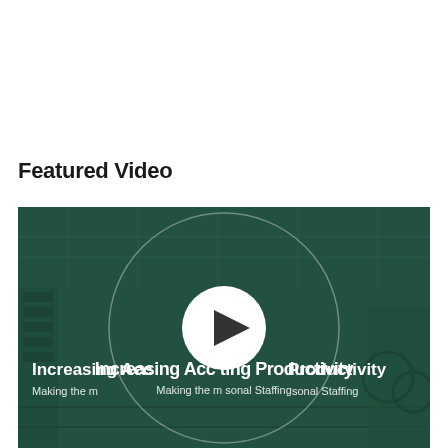Featured Video
[Figure (screenshot): Video thumbnail showing an industrial factory/warehouse interior with machinery and shelving. A large white circular play button is centered on the image. Text overlay reads: 'Increasing Accounting Productivity' and 'Making the most of Seasonal Staffing'. The image has a dark teal/green color overlay.]